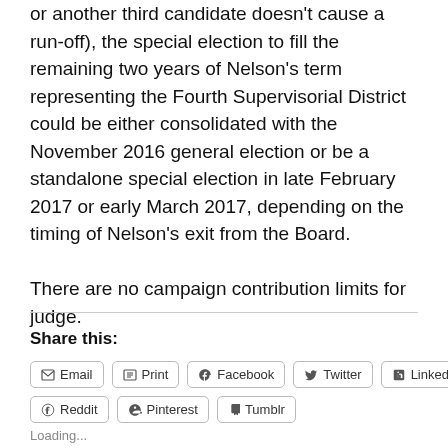or another third candidate doesn't cause a run-off), the special election to fill the remaining two years of Nelson's term representing the Fourth Supervisorial District could be either consolidated with the November 2016 general election or be a standalone special election in late February 2017 or early March 2017, depending on the timing of Nelson's exit from the Board.

There are no campaign contribution limits for judge.
Share this:
Email
Print
Facebook
Twitter
LinkedIn
Reddit
Pinterest
Tumblr
Loading...